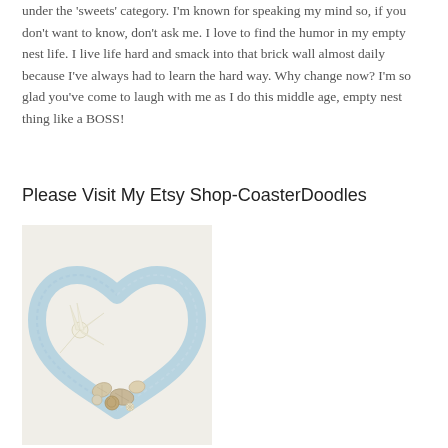under the 'sweets' category. I'm known for speaking my mind so, if you don't want to know, don't ask me. I love to find the humor in my empty nest life. I live life hard and smack into that brick wall almost daily because I've always had to learn the hard way. Why change now? I'm so glad you've come to laugh with me as I do this middle age, empty nest thing like a BOSS!
Please Visit My Etsy Shop-CoasterDoodles
[Figure (photo): A heart-shaped wreath wrapped in light blue yarn/thread, decorated with a large white starfish and various seashells arranged along the bottom, photographed on a light background.]